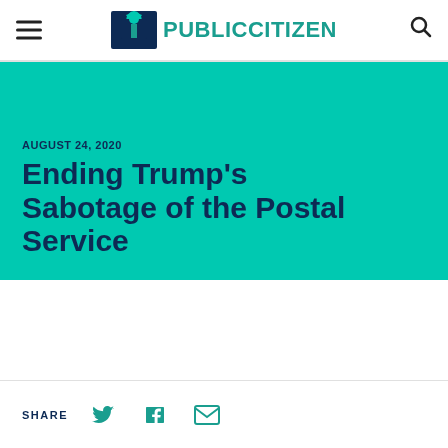PUBLIC CITIZEN
AUGUST 24, 2020
Ending Trump's Sabotage of the Postal Service
SHARE